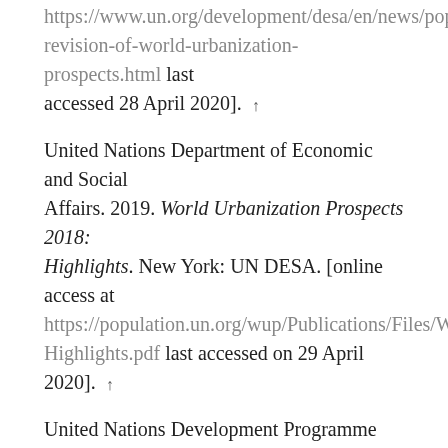https://www.un.org/development/desa/en/news/population/revision-of-world-urbanization-prospects.html last accessed 28 April 2020]. ↑
United Nations Department of Economic and Social Affairs. 2019. World Urbanization Prospects 2018: Highlights. New York: UN DESA. [online access at https://population.un.org/wup/Publications/Files/WUP2018-Highlights.pdf last accessed on 29 April 2020]. ↑
United Nations Development Programme Pakistan. 2018. Development Advocate Pakistan. 2nd edition. Islamabad: UNDP. ↑
United Nations Office for the Coordination of Humanitarian Affairs. 2019. Humanitarian Response Plan January–December 2019. Mogadishu: OCHA Somalia. ↑